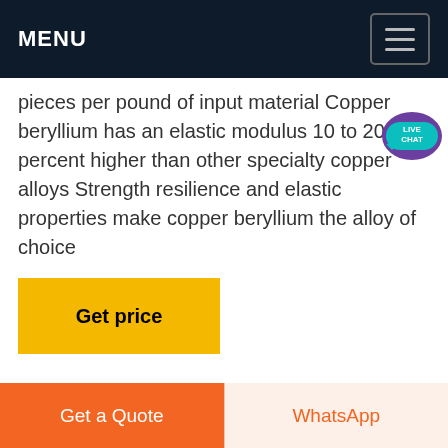MENU
pieces per pound of input material Copper beryllium has an elastic modulus 10 to 20 percent higher than other specialty copper alloys Strength resilience and elastic properties make copper beryllium the alloy of choice
Get price
[Figure (photo): Outdoor photo showing large piles of white/grey crushed material or ore against a blue sky background]
Get a Quote
WhatsApp